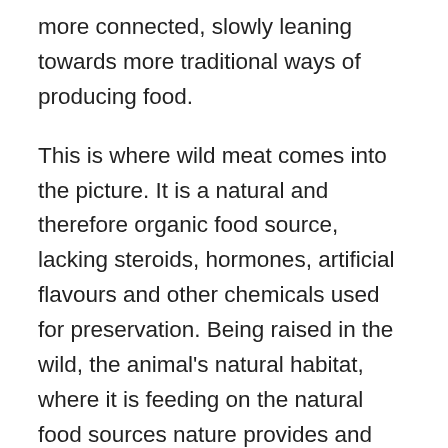more connected, slowly leaning towards more traditional ways of producing food.
This is where wild meat comes into the picture. It is a natural and therefore organic food source, lacking steroids, hormones, artificial flavours and other chemicals used for preservation. Being raised in the wild, the animal's natural habitat, where it is feeding on the natural food sources nature provides and drinking from clean water sources, the meat is not only organic and free-range, but also lower in fat and has a higher protein percentage than commercially produced